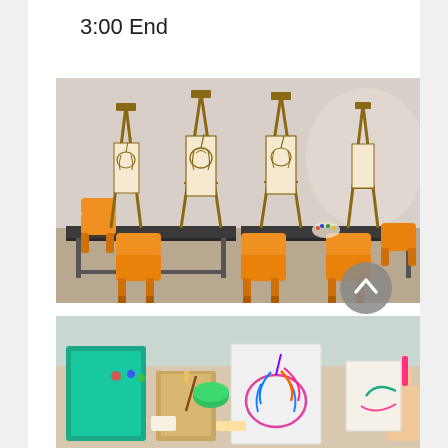3:00 End
[Figure (photo): Art classroom with wooden easels on dark tables and bright orange chairs. Canvases on the easels show outline drawings of unicorns. The room has white walls and a grey floor.]
[Figure (photo): Close-up of children doing a craft/painting activity at a table with teal boards, bowls of paint, and a canvas showing a colorful unicorn design.]